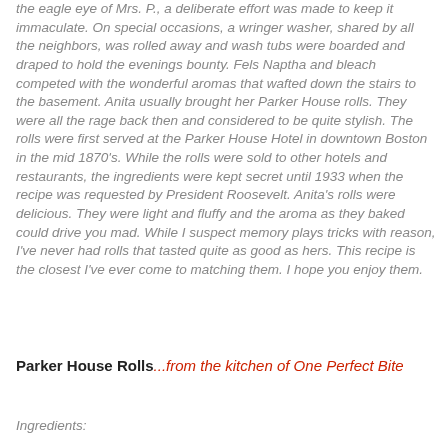the eagle eye of Mrs. P., a deliberate effort was made to keep it immaculate. On special occasions, a wringer washer, shared by all the neighbors, was rolled away and wash tubs were boarded and draped to hold the evenings bounty. Fels Naptha and bleach competed with the wonderful aromas that wafted down the stairs to the basement. Anita usually brought her Parker House rolls. They were all the rage back then and considered to be quite stylish. The rolls were first served at the Parker House Hotel in downtown Boston in the mid 1870's. While the rolls were sold to other hotels and restaurants, the ingredients were kept secret until 1933 when the recipe was requested by President Roosevelt. Anita's rolls were delicious. They were light and fluffy and the aroma as they baked could drive you mad. While I suspect memory plays tricks with reason, I've never had rolls that tasted quite as good as hers. This recipe is the closest I've ever come to matching them. I hope you enjoy them.
Parker House Rolls...from the kitchen of One Perfect Bite
Ingredients: